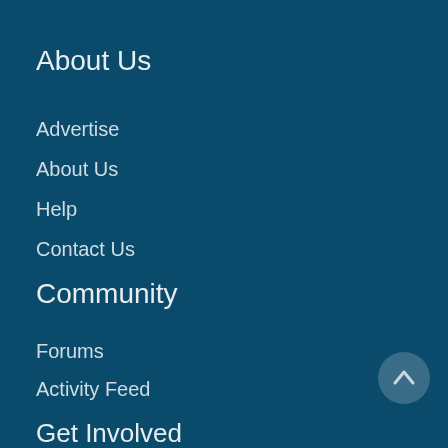About Us
Advertise
About Us
Help
Contact Us
Community
Forums
Activity Feed
Get Involved
Write for Us
Submit Gear
Submit a Photo